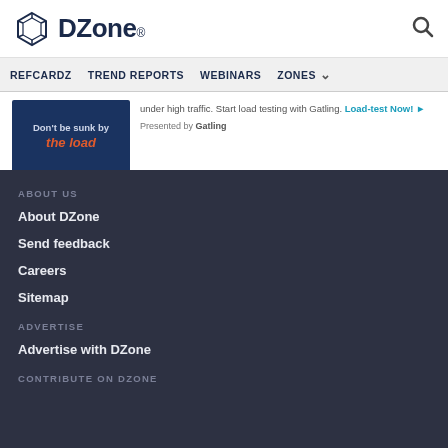DZone
REFCARDZ  TREND REPORTS  WEBINARS  ZONES
[Figure (illustration): DZone advertisement banner showing 'Don't be sunk by the load' with a dark blue background and orange italic text]
under high traffic. Start load testing with Gatling. Load-test Now! ► Presented by Gatling
ABOUT US
About DZone
Send feedback
Careers
Sitemap
ADVERTISE
Advertise with DZone
CONTRIBUTE ON DZONE